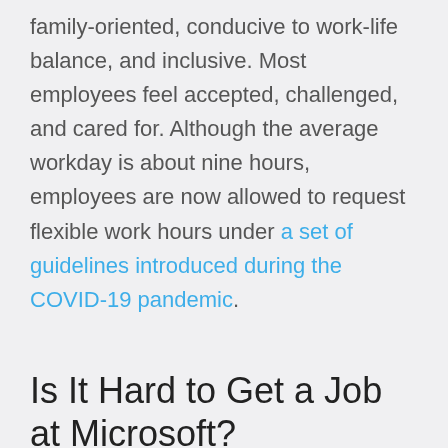family-oriented, conducive to work-life balance, and inclusive. Most employees feel accepted, challenged, and cared for. Although the average workday is about nine hours, employees are now allowed to request flexible work hours under a set of guidelines introduced during the COVID-19 pandemic.
Is It Hard to Get a Job at Microsoft?
Yes, it is hard because Microsoft receives over two million applications